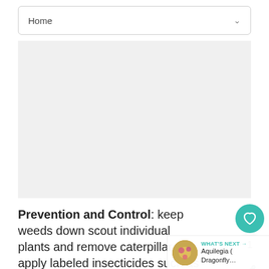Home
[Figure (other): Gray empty advertisement or image placeholder area]
Prevention and Control: keep weeds down scout individual plants and remove caterpillars, apply labeled insecticides such as soaps and oils, take advantage of natural enemies such as parasitic wasps in garden and use Bacillus thuringiensis (biological warfare) for some caterpillar